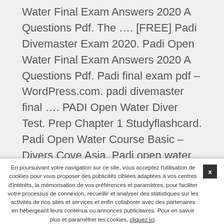Water Final Exam Answers 2020 A Questions Pdf. The …. [FREE] Padi Divemaster Exam 2020. Padi Open Water Final Exam Answers 2020 A Questions Pdf. Padi final exam pdf – WordPress.com. padi divemaster final …. PADI Open Water Diver Test. Prep Chapter 1 Studyflashcard. Padi Open Water Course Basic – Divers Cove Asia. Padi open water final exam pdf WordPress …. PADI Open Water Diver Course section 1 final test … Padi Test … Padi Open Water Final Exam Answers 2020 A Questions Pdf. Imagine you are …. 2019 a questions pdf. Most of the PADI Open Water Diver final exam questions are multiple choice style questions with a couple of place the answers in the … week during the entire year. Quiz
En poursuivant votre navigation sur ce site, vous acceptez l'utilisation de cookies pour vous proposer des publicités ciblées adaptées à vos centres d'intérêts, la mémorisation de vos préférences et paramètres, pour faciliter votre processus de connexion, recueillir et analyser des statistiques sur les activités de nos sites et services et enfin collaborer avec des partenaires en hébergeant leurs contenus ou annonces publicitaires. Pour en savoir plus et paramétrer les cookies, cliquez ici.